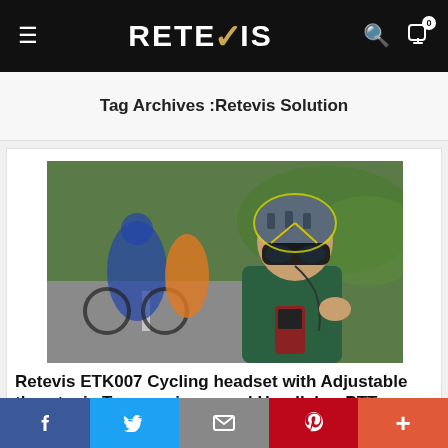RETEVIS
Tag Archives :Retevis Solution
[Figure (photo): Cyclist racing on road overlaid with person wearing cycling helmet, goggles, and a Retevis radio with earpiece wires, dressed in green uniform]
Retevis ETK007 Cycling headset with Adjustable throat mic Two earpieces and Handlebar PTT
f  Twitter  Email  Pinterest  +